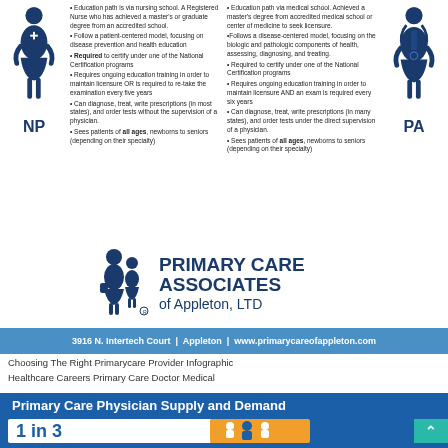[Figure (infographic): NP vs PA comparison infographic with two human figures (nurse practitioner left, physician assistant right) and bullet points describing each role's education path, certification, and patient care scope. Figures are blue silhouettes.]
[Figure (logo): Primary Care Associates of Appleton, LTD logo with two blue human figures and text]
3916 N. Intertech Court | Appleton | www.primarycareofappleton.com
Choosing The Right Primarycare Provider Infographic Healthcare Careers Primary Care Doctor Medical
[Figure (infographic): Primary Care Physician Supply and Demand infographic with blue background, white box showing '1 in 3', orange box with physician icons, and teal arrow]